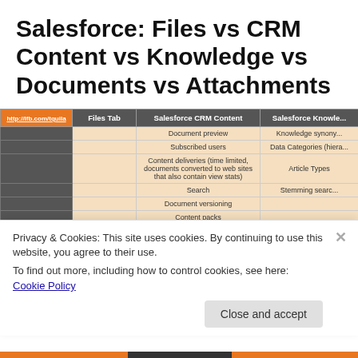Salesforce: Files vs CRM Content vs Knowledge vs Documents vs Attachments
| http://lfb.com/tquila | Files Tab | Salesforce CRM Content | Salesforce Knowledge |
| --- | --- | --- | --- |
|  |  | Document preview | Knowledge synony... |
|  |  | Subscribed users | Data Categories (hiera... |
|  |  | Content deliveries (time limited, documents converted to web sites that also contain view stats) | Article Types |
|  |  | Search | Stemming searc... |
|  |  | Document versioning |  |
|  |  | Content packs |  |
|  |  | Content Types |  |
|  |  | Libraries |  |
|  |  | Content Packs |  |
|  |  |  |  |
| Potential Process Flow | None | Available through the use of private and public libraries | Published, archived, c... statuses |
Privacy & Cookies: This site uses cookies. By continuing to use this website, you agree to their use.
To find out more, including how to control cookies, see here: Cookie Policy
Close and accept